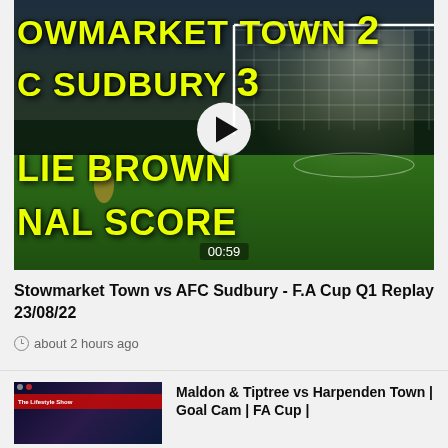[Figure (screenshot): Video thumbnail showing a football match (Stowmarket Town vs AFC Sudbury FA Cup Q1 Replay) with yellow text overlay showing 'STOWMARKET TOWN 2', 'AFC SUDBURY 3', 'OLLIE BROWN', 'FINAL SCORE'. A play button is visible in the center and duration '00:59' at the bottom.]
Stowmarket Town vs AFC Sudbury - F.A Cup Q1 Replay 23/08/22
about 2 hours ago
[Figure (screenshot): Small video thumbnail showing a football match with a red banner overlay reading 'The Lifestyle Show']
Maldon & Tiptree vs Harpenden Town | Goal Cam | FA Cup |